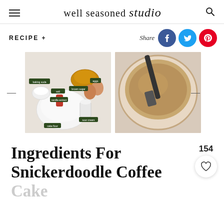well seasoned studio
RECIPE +
Share
[Figure (photo): Flat lay of snickerdoodle coffee cake ingredients including cake flour, brown sugar, eggs, baking soda, salt, vanilla extract, and sour cream with green label tags]
[Figure (photo): Overhead view of a mixing bowl with cinnamon sugar streusel mixture and a spatula]
Ingredients For Snickerdoodle Coffee Cake